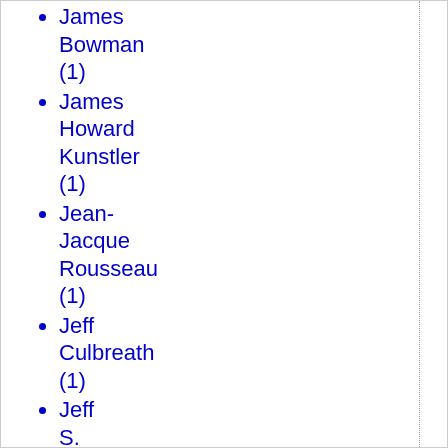James Bowman (1)
James Howard Kunstler (1)
Jean-Jacque Rousseau (1)
Jeff Culbreath (1)
Jeff S. (1)
Jeff Teague (1)
Jefferson (1)
Jesus Christ (1)